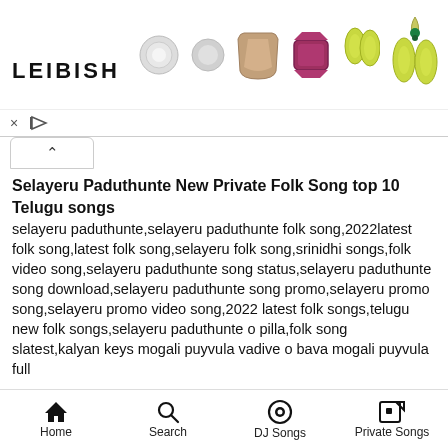[Figure (illustration): LEIBISH jewelry advertisement banner showing various gemstones and a necklace with the LEIBISH logo in bold black text]
× ▷
[Figure (other): Collapse/chevron up button]
Selayeru Paduthunte New Private Folk Song top 10 Telugu songs
selayeru paduthunte,selayeru paduthunte folk song,2022latest folk song,latest folk song,selayeru folk song,srinidhi songs,folk video song,selayeru paduthunte song status,selayeru paduthunte song download,selayeru paduthunte song promo,selayeru promo song,selayeru promo video song,2022 latest folk songs,telugu new folk songs,selayeru paduthunte o pilla,folk song slatest,kalyan keys mogali puyvula vadive o bava mogali puyvula full
Home  Search  DJ Songs  Private Songs